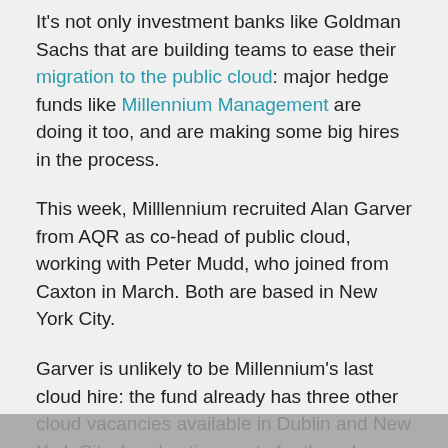It's not only investment banks like Goldman Sachs that are building teams to ease their migration to the public cloud: major hedge funds like Millennium Management are doing it too, and are making some big hires in the process.
This week, Milllennium recruited Alan Garver from AQR as co-head of public cloud, working with Peter Mudd, who joined from Caxton in March. Both are based in New York City.
Garver is unlikely to be Millennium's last cloud hire: the fund already has three other cloud vacancies available in Dublin and New York City. In advertisements for the roles, Millennium says it's building, "a state of the art multi-cloud compute and data platform," that's, "designed to enable application developers, quantitative analysts, and data scientists, to take advantage of cloud native capabilities, iterate quickly, and build elastic systems." The hedge fund first began moving to the cloud three years ago. It already has some of its back office systems there, and is migrating